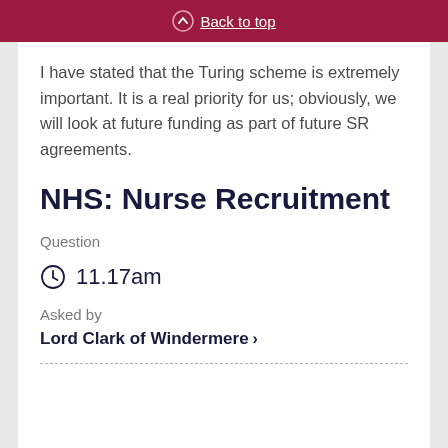Back to top
I have stated that the Turing scheme is extremely important. It is a real priority for us; obviously, we will look at future funding as part of future SR agreements.
NHS: Nurse Recruitment
Question
11.17am
Asked by
Lord Clark of Windermere